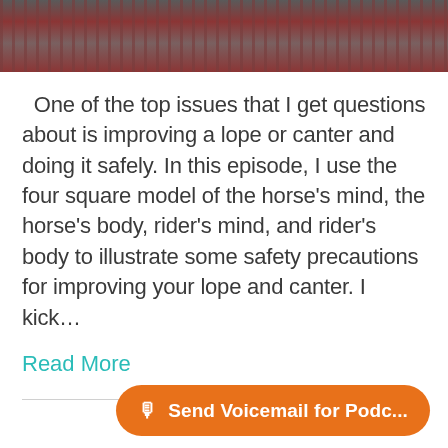[Figure (photo): Partial photo strip at top showing red/maroon fabric with fringe trim and dark clothing, cropped]
One of the top issues that I get questions about is improving a lope or canter and doing it safely. In this episode, I use the four square model of the horse's mind, the horse's body, rider's mind, and rider's body to illustrate some safety precautions for improving your lope and canter. I kick...
Read More
🎙 Send Voicemail for Podc...